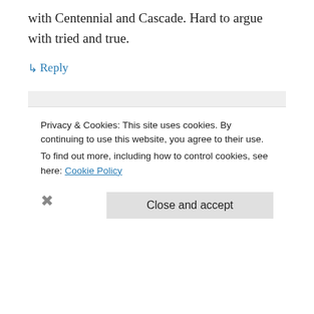with Centennial and Cascade. Hard to argue with tried and true.
↳ Reply
Seth on April 18, 2013 at 9:24 am
Glad you mentioned this about the mosaic. I think i'll stick with it for flavor and Cent for aroma
Privacy & Cookies: This site uses cookies. By continuing to use this website, you agree to their use.
To find out more, including how to control cookies, see here: Cookie Policy
Close and accept